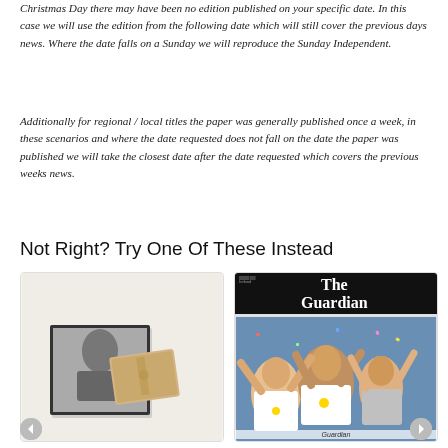Christmas Day there may have been no edition published on your specific date. In this case we will use the edition from the following date which will still cover the previous days news. Where the date falls on a Sunday we will reproduce the Sunday Independent.
Additionally for regional / local titles the paper was generally published once a week, in these scenarios and where the date requested does not fall on the date the paper was published we will take the closest date after the date requested which covers the previous weeks news.
Not Right? Try One Of These Instead
[Figure (photo): Left card showing a framed black and white photo with a book/passport on top, on a light beige background]
[Figure (photo): Right card showing The Guardian newspaper front page with women celebrating, likely a sports team victory]